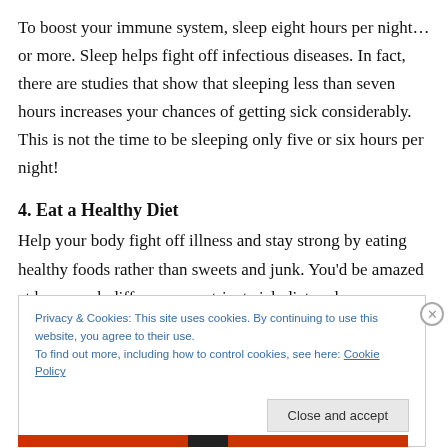To boost your immune system, sleep eight hours per night…or more. Sleep helps fight off infectious diseases. In fact, there are studies that show that sleeping less than seven hours increases your chances of getting sick considerably. This is not the time to be sleeping only five or six hours per night!
4. Eat a Healthy Diet
Help your body fight off illness and stay strong by eating healthy foods rather than sweets and junk. You'd be amazed at how much difference a nutrient-rich diet makes
Privacy & Cookies: This site uses cookies. By continuing to use this website, you agree to their use.
To find out more, including how to control cookies, see here: Cookie Policy